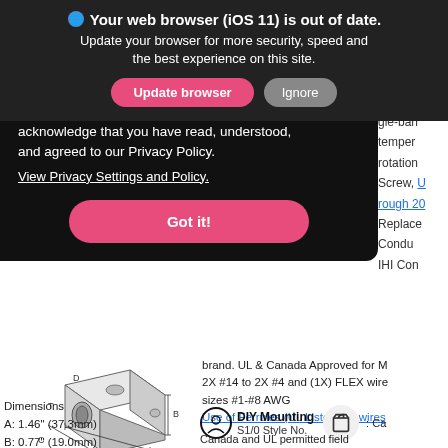Your web browser (iOS 11) is out of date. Update your browser for more security, speed and the best experience on this site.
acknowledge that you have read, understood, and agreed to our Privacy Policy. View Privacy Settings and Policy.
Got it!
gie-ban
temper
rotation
Screw, U
rough 20
Replace
Condu
IHI Con
brand. UL & Canada Approved for M
2X #14 to 2X #4 and (1X) FLEX wire
sizes #1-#8 AWG
Use of Ferrules (UL Listed) on wires
[Figure (engineering-diagram): 3D isometric diagram of an electrical connector/terminal block with labeled dimensions A, B, C, D, T]
Dimensions
A: 1.46" (37.3mm)
B: 0.77" (19.0mm)
DIY Mounting : Ca
S1/0 Style No.
Canada and UL permitted field modification by customer per the D